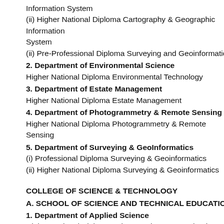Information System
(ii) Higher National Diploma Cartography & Geographic Information System
(ii) Pre-Professional Diploma Surveying and Geoinformatics
2. Department of Environmental Science
Higher National Diploma Environmental Technology
3. Department of Estate Management
Higher National Diploma Estate Management
4. Department of Photogrammetry & Remote Sensing
Higher National Diploma Photogrammetry & Remote Sensing
5. Department of Surveying & GeoInformatics
(i) Professional Diploma Surveying & Geoinformatics
(ii) Higher National Diploma Surveying & Geoinformatics
COLLEGE OF SCIENCE & TECHNOLOGY
A. SCHOOL OF SCIENCE AND TECHNICAL EDUCATION
1. Department of Applied Science
Higher National Diploma Science Laboratory Technology with options in...